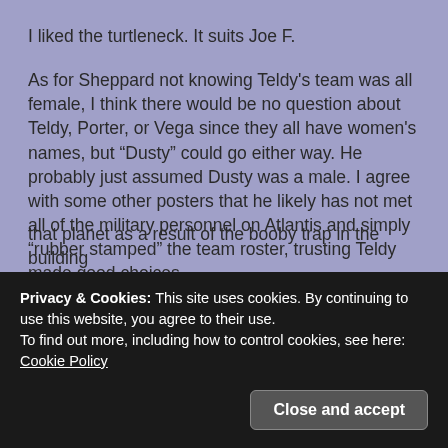I liked the turtleneck. It suits Joe F.
As for Sheppard not knowing Teldy's team was all female, I think there would be no question about Teldy, Porter, or Vega since they all have women's names, but “Dusty” could go either way. He probably just assumed Dusty was a male. I agree with some other posters that he likely has not met all of the military personnel on Atlantis and simply “rubber stamped” the team roster, trusting Teldy made good choices.
I have a question for you now, Mr. M. It kind of just hit
that planet as a result of the booby trap in the building
Privacy & Cookies: This site uses cookies. By continuing to use this website, you agree to their use.
To find out more, including how to control cookies, see here: Cookie Policy